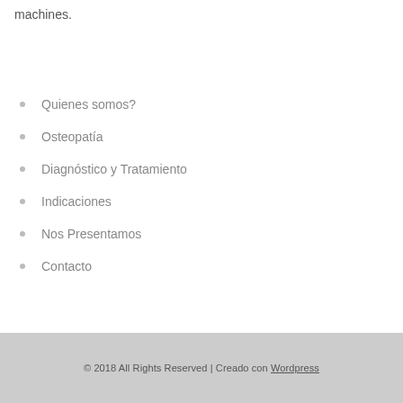machines.
Quienes somos?
Osteopatía
Diagnóstico y Tratamiento
Indicaciones
Nos Presentamos
Contacto
© 2018 All Rights Reserved | Creado con Wordpress